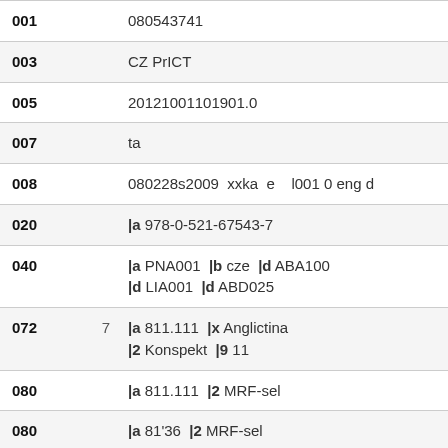| Tag | Ind | Value |
| --- | --- | --- |
| 001 |  | 080543741 |
| 003 |  | CZ PrICT |
| 005 |  | 20121001101901.0 |
| 007 |  | ta |
| 008 |  | 080228s2009  xxka  e    l001 0 eng d |
| 020 |  | |a 978-0-521-67543-7 |
| 040 |  | |a PNA001  |b cze  |d ABA100
|d LIA001  |d ABD025 |
| 072 | 7 | |a 811.111  |x Anglictina
|2 Konspekt  |9 11 |
| 080 |  | |a 811.111  |2 MRF-sel |
| 080 |  | |a 81'36  |2 MRF-sel |